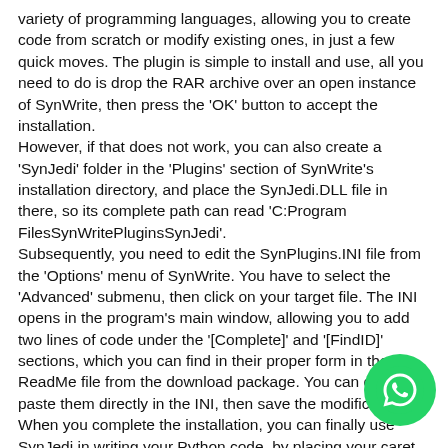variety of programming languages, allowing you to create code from scratch or modify existing ones, in just a few quick moves. The plugin is simple to install and use, all you need to do is drop the RAR archive over an open instance of SynWrite, then press the 'OK' button to accept the installation.
However, if that does not work, you can also create a 'SynJedi' folder in the 'Plugins' section of SynWrite's installation directory, and place the SynJedi.DLL file in there, so its complete path can read 'C:Program FilesSynWritePluginsSynJedi'.
Subsequently, you need to edit the SynPlugins.INI file from the 'Options' menu of SynWrite. You have to select the 'Advanced' submenu, then click on your target file. The INI opens in the program's main window, allowing you to add two lines of code under the '[Complete]' and '[FindID]' sections, which you can find in their proper form in the ReadMe file from the download package. You can copy and paste them directly in the INI, then save the modifications.
When you complete the installation, you can finally use SynJedi in writing your Python code, by placing your caret after 'objname.' then pressing the 'CTRL' and 'Space' keys, which is the assigned auto-completion shortcut. Following a slight delay on the first server call, SynJedi will offer you several options that you can choose from. You can then select
[Figure (illustration): WhatsApp green circular button icon in bottom-right corner]